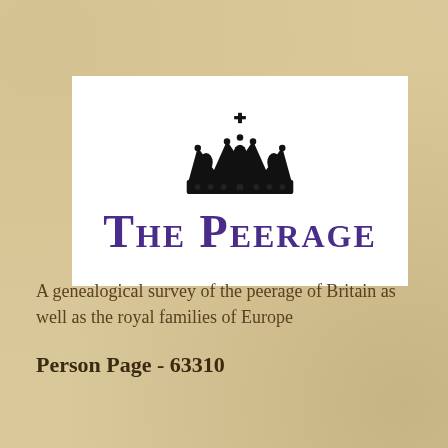[Figure (logo): The Peerage logo: a black crown above the text 'THE PEERAGE' in large purple small-caps serif font, on a white background]
A genealogical survey of the peerage of Britain as well as the royal families of Europe
Person Page - 63310